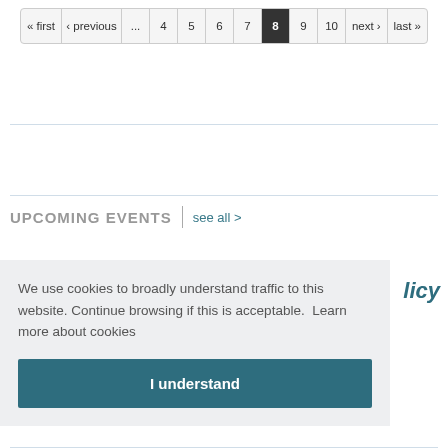« first  ‹ previous  ...  4  5  6  7  8  9  10  next ›  last »
UPCOMING EVENTS  |  see all >
We use cookies to broadly understand traffic to this website. Continue browsing if this is acceptable.  Learn more about cookies
I understand